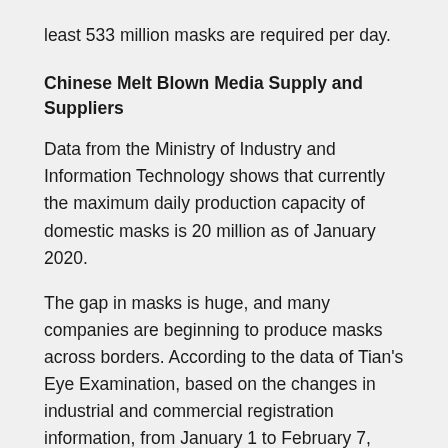least 533 million masks are required per day.
Chinese Melt Blown Media Supply and Suppliers
Data from the Ministry of Industry and Information Technology shows that currently the maximum daily production capacity of domestic masks is 20 million as of January 2020.
The gap in masks is huge, and many companies are beginning to produce masks across borders. According to the data of Tian's Eye Examination, based on the changes in industrial and commercial registration information, from January 1 to February 7, 2020, more than 3,000 companies across the country have added "masks, protective clothing, disinfectants, thermometers, medical equipment, etc."